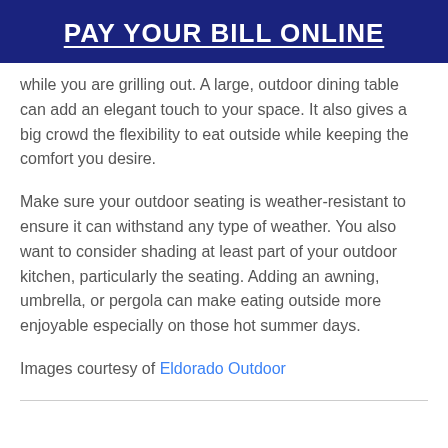PAY YOUR BILL ONLINE
while you are grilling out. A large, outdoor dining table can add an elegant touch to your space. It also gives a big crowd the flexibility to eat outside while keeping the comfort you desire.
Make sure your outdoor seating is weather-resistant to ensure it can withstand any type of weather. You also want to consider shading at least part of your outdoor kitchen, particularly the seating. Adding an awning, umbrella, or pergola can make eating outside more enjoyable especially on those hot summer days.
Images courtesy of Eldorado Outdoor